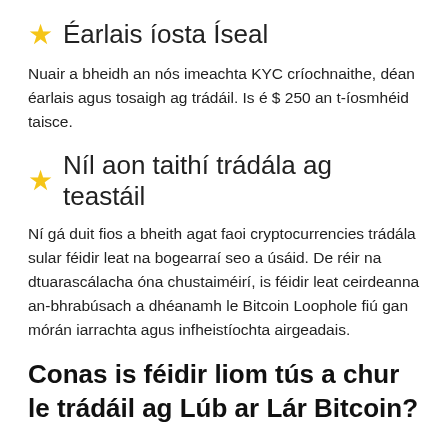⭐ Éarlais íosta Íseal
Nuair a bheidh an nós imeachta KYC críochnaithe, déan éarlais agus tosaigh ag trádáil. Is é $ 250 an t-íosmhéid taisce.
⭐ Níl aon taithí trádála ag teastáil
Ní gá duit fios a bheith agat faoi cryptocurrencies trádála sular féidir leat na bogearraí seo a úsáid. De réir na dtuarascálacha óna chustaiméirí, is féidir leat ceirdeanna an-bhrabúsach a dhéanamh le Bitcoin Loophole fiú gan mórán iarrachta agus infheistíochta airgeadais.
Conas is féidir liom tús a chur le trádáil ag Lúb ar Lár Bitcoin?